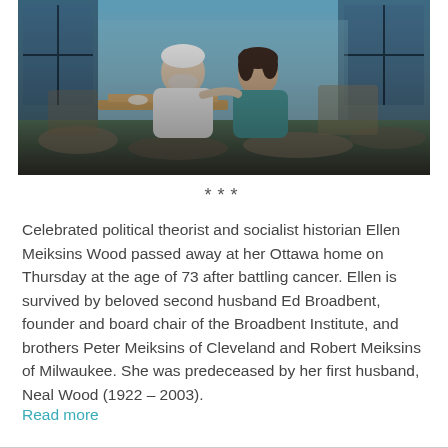[Figure (photo): Photograph of an elderly couple seated outdoors on a patio or terrace, smiling. The man on the left has white hair and a beard, wearing a white jacket. The woman on the right has dark hair, wearing a teal top. Background shows outdoor furniture and blue glass panels.]
***
Celebrated political theorist and socialist historian Ellen Meiksins Wood passed away at her Ottawa home on Thursday at the age of 73 after battling cancer. Ellen is survived by beloved second husband Ed Broadbent, founder and board chair of the Broadbent Institute, and brothers Peter Meiksins of Cleveland and Robert Meiksins of Milwaukee. She was predeceased by her first husband, Neal Wood (1922 – 2003).
Read more